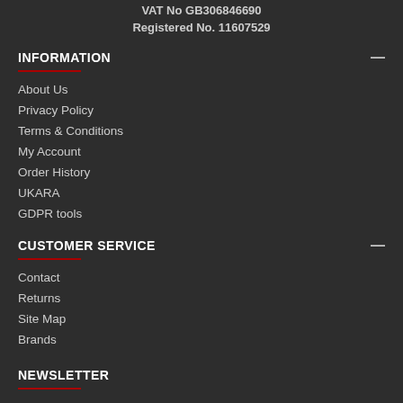VAT No GB306846690
Registered No. 11607529
INFORMATION
About Us
Privacy Policy
Terms & Conditions
My Account
Order History
UKARA
GDPR tools
CUSTOMER SERVICE
Contact
Returns
Site Map
Brands
NEWSLETTER